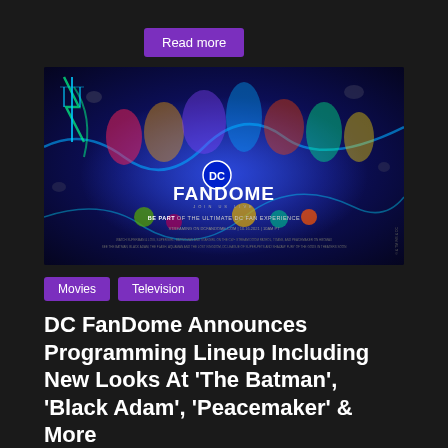Read more
[Figure (illustration): DC FanDome promotional poster featuring multiple DC superheroes and characters in a colorful collage. Text reads: DC FANDOME, JOIN US LIVE, BE PART OF THE ULTIMATE DC FAN EXPERIENCE, STREAMING ON DCFANDOME.COM | 10.16.2021 | 10AM PT]
Movies   Television
DC FanDome Announces Programming Lineup Including New Looks At ‘The Batman’, ‘Black Adam’, ‘Peacemaker’ & More